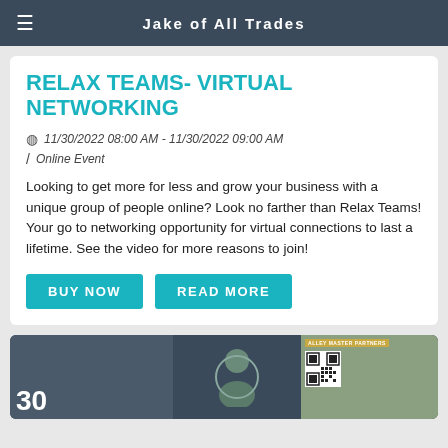Jake of All Trades
RELAX TEAMS- VIRTUAL NETWORKING
11/30/2022 08:00 AM - 11/30/2022 09:00 AM
Online Event
Looking to get more for less and grow your business with a unique group of people online? Look no farther than Relax Teams! Your go to networking opportunity for virtual connections to last a lifetime. See the video for more reasons to join!
[Figure (screenshot): Video conference screenshot showing participants in a virtual networking session with the number 30 displayed, a person with headphones, a circular logo, a QR code, and a panel labeled 'ALLEY MASTER PARTNERS']